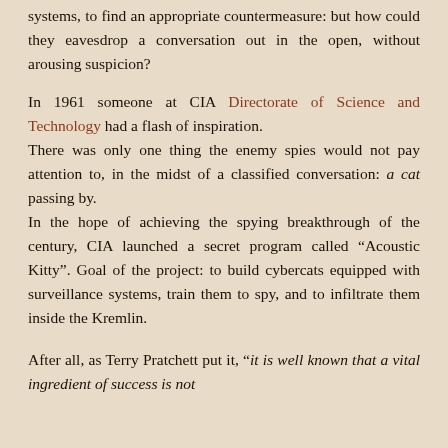systems, to find an appropriate countermeasure: but how could they eavesdrop a conversation out in the open, without arousing suspicion?
In 1961 someone at CIA Directorate of Science and Technology had a flash of inspiration. There was only one thing the enemy spies would not pay attention to, in the midst of a classified conversation: a cat passing by. In the hope of achieving the spying breakthrough of the century, CIA launched a secret program called “Acoustic Kitty”. Goal of the project: to build cybercats equipped with surveillance systems, train them to spy, and to infiltrate them inside the Kremlin.
After all, as Terry Pratchett put it, “it is well known that a vital ingredient of success is not